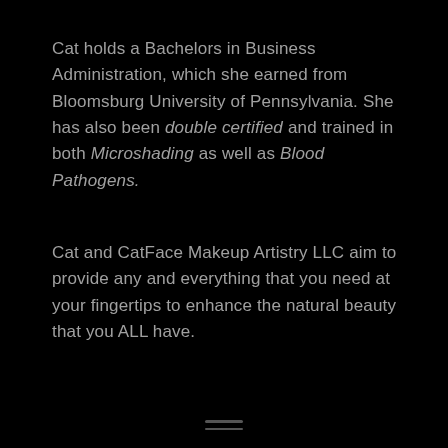Cat holds a Bachelors in Business Administration, which she earned from Bloomsburg University of Pennsylvania. She has also been double certified and trained in both Microshading as well as Blood Pathogens.
Cat and CatFace Makeup Artistry LLC aim to provide any and everything that you need at your fingertips to enhance the natural beauty that you ALL have.